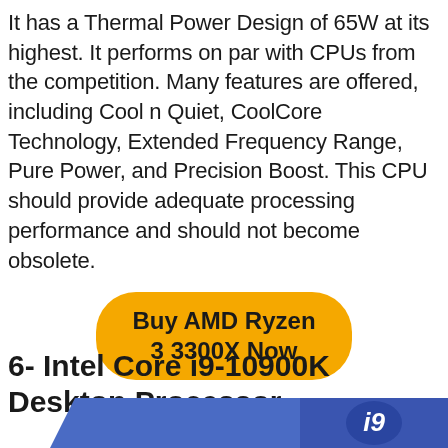It has a Thermal Power Design of 65W at its highest. It performs on par with CPUs from the competition. Many features are offered, including Cool n Quiet, CoolCore Technology, Extended Frequency Range, Pure Power, and Precision Boost. This CPU should provide adequate processing performance and should not become obsolete.
[Figure (other): Yellow rounded rectangle button with bold black text reading 'Buy AMD Ryzen 3 3300X Now']
6- Intel Core i9-10900K Desktop Processor
[Figure (photo): Bottom portion of Intel Core i9-10900K product box showing blue packaging with the Intel 'i9' logo visible]